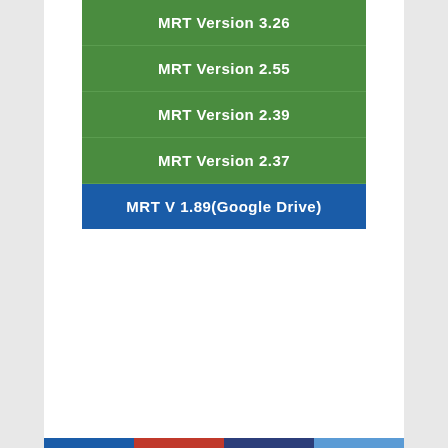MRT Version 3.26
MRT Version 2.55
MRT Version 2.39
MRT Version 2.37
MRT V 1.89(Google Drive)